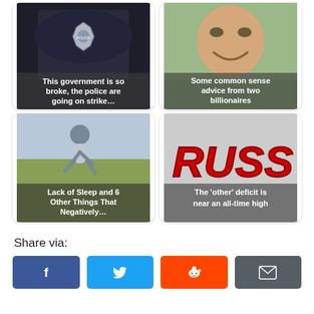[Figure (photo): Police officer hat with badge, dark background. Text overlay: 'This government is so broke, the police are going on strike…']
[Figure (photo): Man smiling/laughing, outdoor background. Text overlay: 'Some common sense advice from two billionaires']
[Figure (photo): Man running outdoors in winter clothing. Text overlay: 'Lack of Sleep and 6 Other Things That Negatively…']
[Figure (photo): Red graffiti text 'RUSS' on grey background. Text overlay: 'The 'other' deficit is near an all-time high']
Share via:
[Figure (other): Facebook share button (blue, f icon)]
[Figure (other): Twitter share button (blue, bird icon)]
[Figure (other): Reddit share button (orange, alien icon)]
[Figure (other): Email share button (dark grey, envelope icon)]